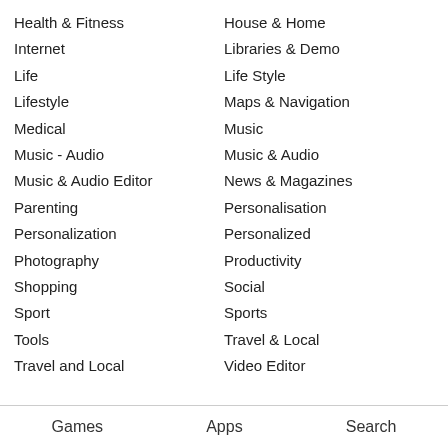Health & Fitness
Internet
Life
Lifestyle
Medical
Music - Audio
Music & Audio Editor
Parenting
Personalization
Photography
Shopping
Sport
Tools
Travel and Local
House & Home
Libraries & Demo
Life Style
Maps & Navigation
Music
Music & Audio
News & Magazines
Personalisation
Personalized
Productivity
Social
Sports
Travel & Local
Video Editor
Games   Apps   Search